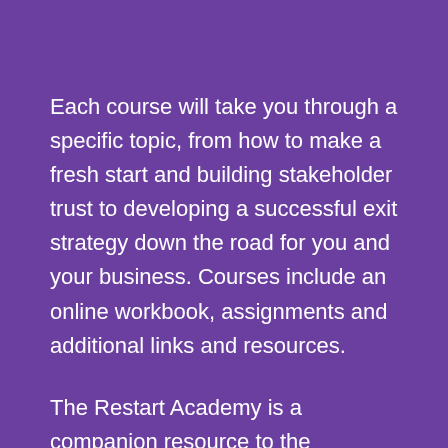Each course will take you through a specific topic, from how to make a fresh start and building stakeholder trust to developing a successful exit strategy down the road for you and your business. Courses include an online workbook, assignments and additional links and resources.
The Restart Academy is a companion resource to the Entrepreneur Academy and the The Startup Playbook. As you continue your journey as a business owner, these